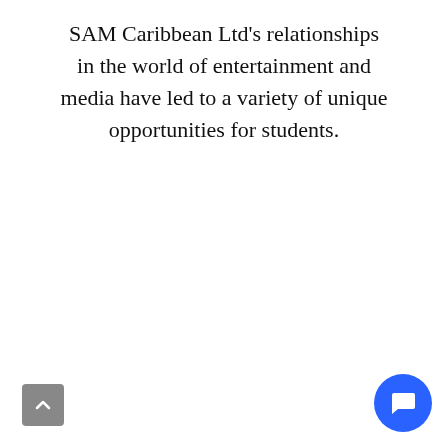SAM Caribbean Ltd's relationships in the world of entertainment and media have led to a variety of unique opportunities for students.